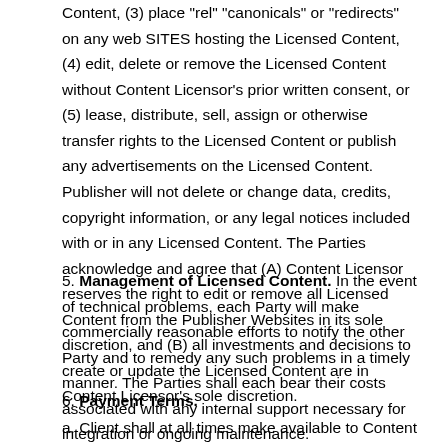Content, (3) place "rel" "canonicals" or "redirects" on any web SITES hosting the Licensed Content, (4) edit, delete or remove the Licensed Content without Content Licensor's prior written consent, or (5) lease, distribute, sell, assign or otherwise transfer rights to the Licensed Content or publish any advertisements on the Licensed Content. Publisher will not delete or change data, credits, copyright information, or any legal notices included with or in any Licensed Content. The Parties acknowledge and agree that (A) Content Licensor reserves the right to edit or remove all Licensed Content from the Publisher Websites in its sole discretion, and (B) all investments and decisions to create or update the Licensed Content are in Content Licensor's sole discretion.
5. Management of Licensed Content. In the event of technical problems, each Party will make commercially reasonable efforts to notify the other Party and to remedy any such problems in a timely manner. The Parties shall each bear their costs associated with any internal support necessary for integration or ongoing maintenance.
6. Payment Terms.
a. Client shall at all times make available to Content Licensor its